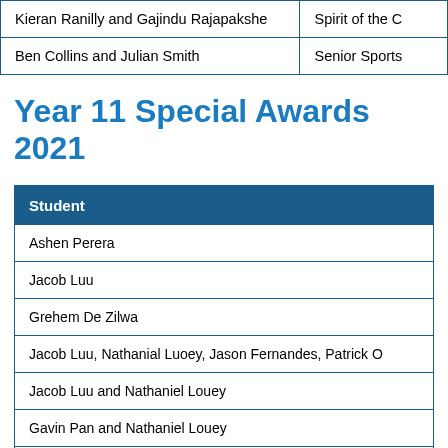| Student | Award |
| --- | --- |
| Kieran Ranilly and Gajindu Rajapakshe | Spirit of the C... |
| Ben Collins and Julian Smith | Senior Sports... |
Year 11 Special Awards 2021
| Student |
| --- |
| Ashen Perera |
| Jacob Luu |
| Grehem De Zilwa |
| Jacob Luu, Nathanial Luoey, Jason Fernandes, Patrick O... |
| Jacob Luu and Nathaniel Louey |
| Gavin Pan and Nathaniel Louey |
| Michael Livingston |